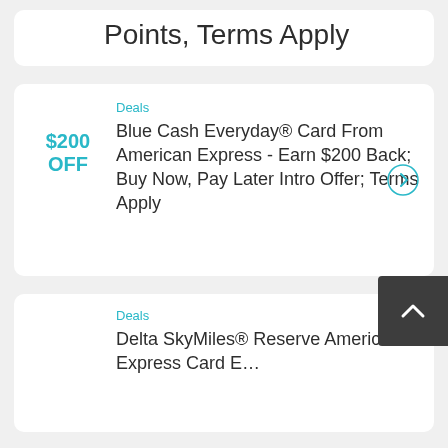Points, Terms Apply
Deals
$200 OFF
Blue Cash Everyday® Card From American Express - Earn $200 Back; Buy Now, Pay Later Intro Offer; Terms Apply
Deals
Delta SkyMiles® Reserve American Express Card E...